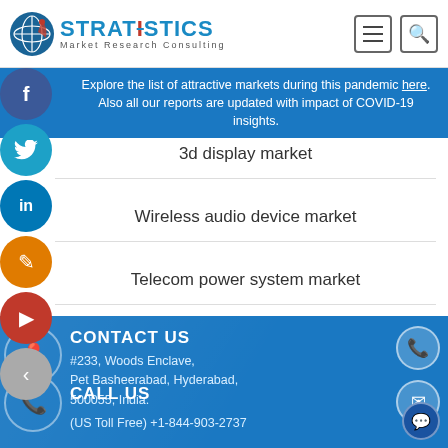Stratistics Market Research Consulting
Explore the list of attractive markets during this pandemic here. Also all our reports are updated with impact of COVID-19 insights.
3d display market
Wireless audio device market
Telecom power system market
CONTACT US
#233, Woods Enclave, Pet Basheerabad, Hyderabad, 500055, India.
CALL US
(US Toll Free) +1-844-903-2737